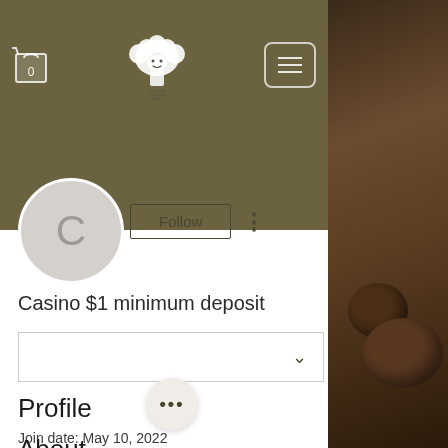[Figure (screenshot): Website header with shopping cart icon showing 0, a logo of 'The Holy Cupcake Bakery' with decorative sheep/cloud design, and a hamburger menu button]
[Figure (screenshot): User profile page showing avatar circle with letter C, Follow button, three-dot menu, username 'Casino $1 minimum deposit', a dropdown row with chevron, Profile section with join date May 10 2022, and partial About section]
Casino $1 minimum deposit
Profile
Join date: May 10, 2022
About